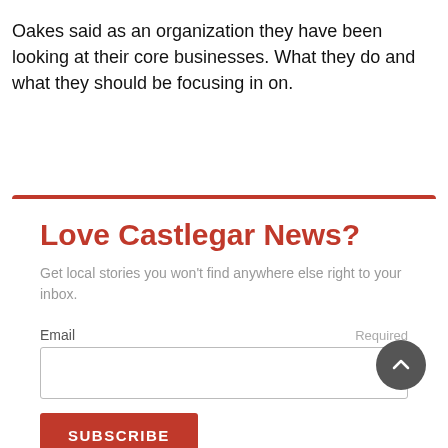Oakes said as an organization they have been looking at their core businesses. What they do and what they should be focusing in on.
Love Castlegar News?
Get local stories you won't find anywhere else right to your inbox.
Email  Required
SUBSCRIBE